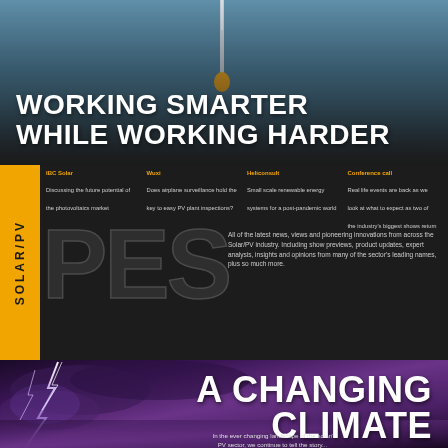[Figure (photo): Offshore wind turbine with yellow buoy in blue ocean water]
WORKING SMARTER WHILE WORKING HARDER
[Figure (infographic): PES Solar/PV magazine middle band with yellow sidebar, article teasers, large PES letters, and descriptive text]
IBC Solar: Discussing the future potential of the photovoltaics market
Wuxi: Does airplane surveillance hold the key to easy PV plant inspections?
Heliconsult: Small scale renewable energy systems for a post-pandemic world
Conference call: Real life events are back as we look at what to expect as two of the industry's biggest shows return
All of the latest news, views and pioneering innovations from across the Solar/PV industry. Including show previews, product updates, expert analysis, insights and opinions from many of the sector's leading names, plus so much more.
POWER AND ENERGY SOLUTIONS • ISSUE 39, 2021
[Figure (photo): Storm lightning scene with purple-toned sky and lightning bolts]
A CHANGING CLIMATE
In the ever changing landscape of the solar/PV sector, we continue to tell the story...